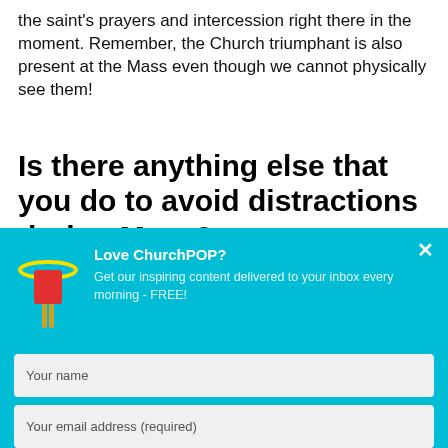the saint's prayers and intercession right there in the moment. Remember, the Church triumphant is also present at the Mass even though we cannot physically see them!
Is there anything else that you do to avoid distractions during Mass?
[Figure (screenshot): ChurchPOP newsletter signup popup with cyan/blue background, popsicle logo icon, title 'Love ChurchPOP?', description text, name and email input fields, and a yellow 'Sign me up!' button]